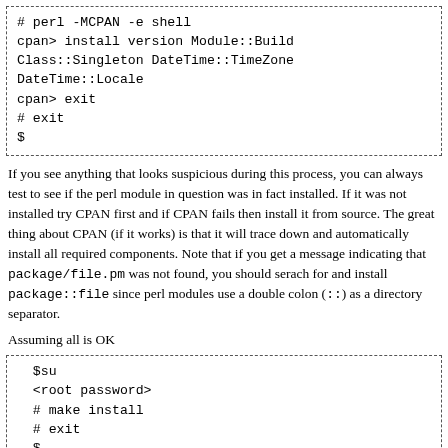# perl -MCPAN -e shell
cpan> install version Module::Build Class::Singleton DateTime::TimeZone DateTime::Locale
cpan> exit
# exit
$
If you see anything that looks suspicious during this process, you can always test to see if the perl module in question was in fact installed. If it was not installed try CPAN first and if CPAN fails then install it from source. The great thing about CPAN (if it works) is that it will trace down and automatically install all required components. Note that if you get a message indicating that package/file.pm was not found, you should serach for and install package::file since perl modules use a double colon (::) as a directory separator.
Assuming all is OK
$su
<root password>
# make install
# exit
$